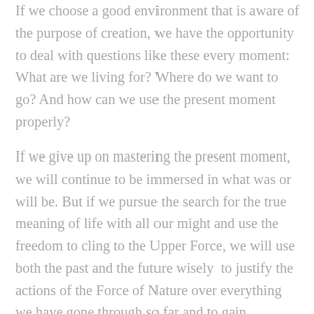If we choose a good environment that is aware of the purpose of creation, we have the opportunity to deal with questions like these every moment: What are we living for? Where do we want to go? And how can we use the present moment properly?
If we give up on mastering the present moment, we will continue to be immersed in what was or will be. But if we pursue the search for the true meaning of life with all our might and use the freedom to cling to the Upper Force, we will use both the past and the future wisely  to justify the actions of the Force of Nature over everything we have gone through so far and to gain confidence and trust in the future. So why should we worry about tomorrow if we rely on the